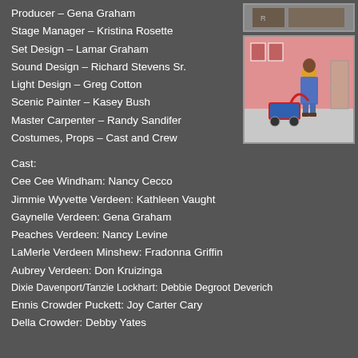Producer – Gena Graham
Stage Manager – Kristina Rosette
Set Design – Lamar Graham
Sound Design – Richard Stevens Sr.
Light Design – Greg Cotton
Scenic Painter – Kasey Bush
Master Carpenter – Randy Sandifer
Costumes, Props – Cast and Crew
[Figure (photo): Two production photos: top photo partially visible, bottom photo shows a person in yellow top and blue dress/overalls pulling a red wagon in a pink-walled room]
Cast:
Cee Cee Windham: Nancy Cecco
Jimmie Wyvette Verdeen: Kathleen Vaught
Gaynelle Verdeen: Gena Graham
Peaches Verdeen: Nancy Levine
LaMerle Verdeen Minshew: Fradonna Griffin
Aubrey Verdeen: Don Kruizinga
Dixie Davenport/Tanzie Lockhart: Debbie Degroot Deverich
Ennis Crowder Puckett: Joy Carter Cary
Della Crowder: Debby Yates